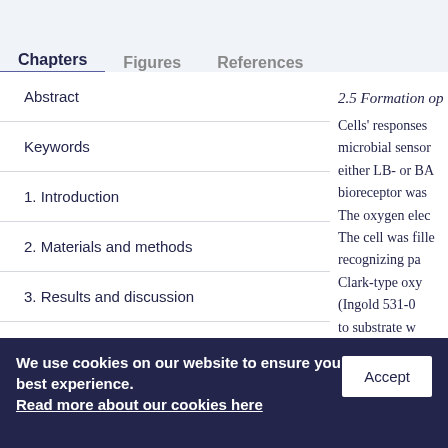Chapters   Figures   References
2.5 Formation op
Abstract
Keywords
1. Introduction
2. Materials and methods
3. Results and discussion
4. Conclusions
Abbreviations
Cells' responses microbial sensor either LB- or BA bioreceptor was The oxygen elec The cell was fill recognizing pa Clark-type ox (Ingold 531-0 to substrate w
We use cookies on our website to ensure you best experience. Read more about our cookies here